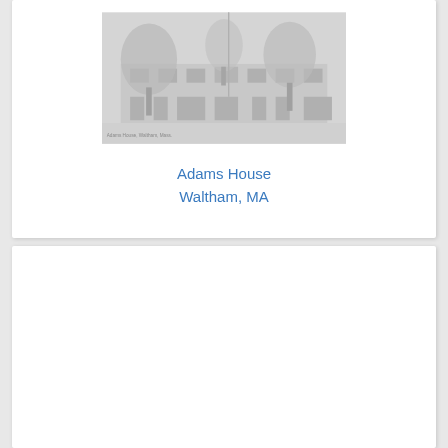[Figure (photo): Historical black-and-white photograph of Adams House in Waltham, MA, showing a building with trees in the foreground]
Adams House
Waltham, MA